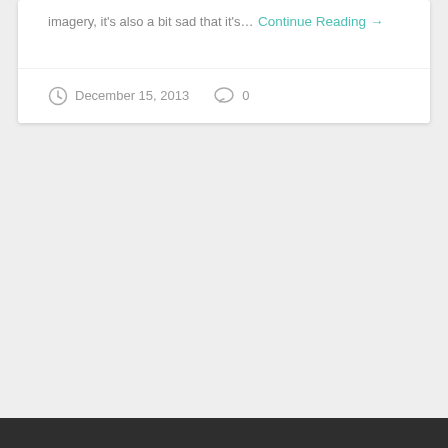imagery, it's also a bit sad that it's…
Continue Reading →
December 15, 2013   0